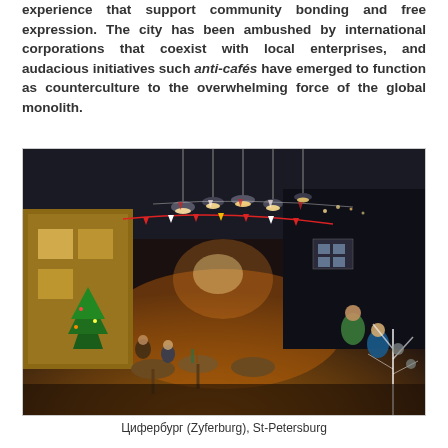experience that support community bonding and free expression. The city has been ambushed by international corporations that coexist with local enterprises, and audacious initiatives such anti-cafés have emerged to function as counterculture to the overwhelming force of the global monolith.
[Figure (photo): Interior of Циферburg (Zyferburg) anti-café in St-Petersburg, showing a large dimly lit space with hanging industrial pendant lamps, festive bunting decorations, tables with patrons, a Christmas tree, eclectic furniture and décor including various props arranged like a town scene.]
Цифербург (Zyferburg), St-Petersburg